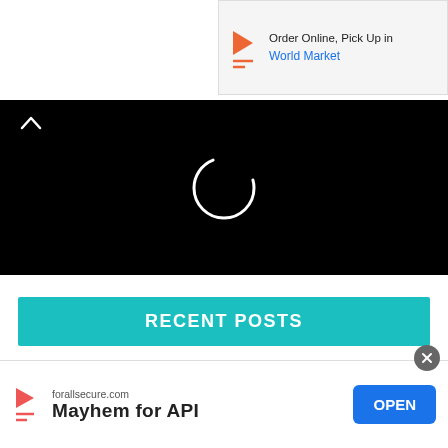[Figure (other): Advertisement banner: Order Online, Pick Up in World Market with brand logo icon]
[Figure (other): Video player area with black background showing a loading spinner circle and a chevron/up arrow button]
RECENT POSTS
Angular 13 How to Make REST Search Call using RxJS Debounce ?
Phone (Mobile) Validation Using ReGex in
[Figure (other): Bottom advertisement banner: forallsecure.com – Mayhem for API, with OPEN button]